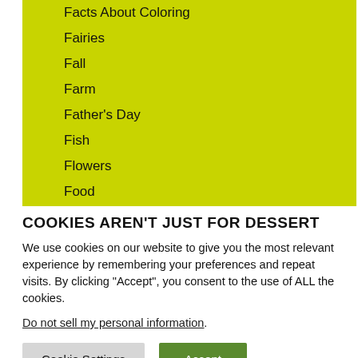Facts About Coloring
Fairies
Fall
Farm
Father's Day
Fish
Flowers
Food
COOKIES AREN'T JUST FOR DESSERT
We use cookies on our website to give you the most relevant experience by remembering your preferences and repeat visits. By clicking “Accept”, you consent to the use of ALL the cookies.
Do not sell my personal information.